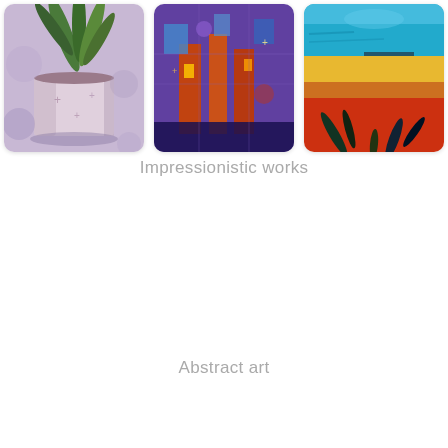[Figure (illustration): Three impressionistic paintings shown side by side: left is a potted plant with green leaves in a textured white/purple vase; center is a colorful abstract cityscape with vibrant blues, reds, oranges; right is a seascape/landscape with teal water, yellow horizon, and red/orange foreground with dark brush strokes.]
Impressionistic works
Abstract art